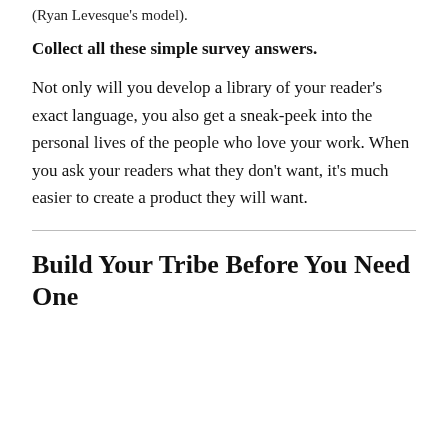(Ryan Levesque's model).
Collect all these simple survey answers.
Not only will you develop a library of your reader's exact language, you also get a sneak-peek into the personal lives of the people who love your work. When you ask your readers what they don't want, it's much easier to create a product they will want.
Build Your Tribe Before You Need One